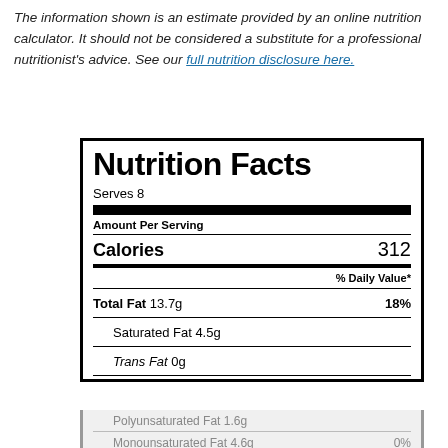The information shown is an estimate provided by an online nutrition calculator. It should not be considered a substitute for a professional nutritionist's advice. See our full nutrition disclosure here.
| Nutrition Facts |
| --- |
| Serves 8 |
| Amount Per Serving |
| Calories | 312 |
| % Daily Value* |
| Total Fat 13.7g | 18% |
| Saturated Fat 4.5g |  |
| Trans Fat 0g |  |
| Polyunsaturated Fat 1.6g |  |
| Monounsaturated Fat 4.6g | 0% |